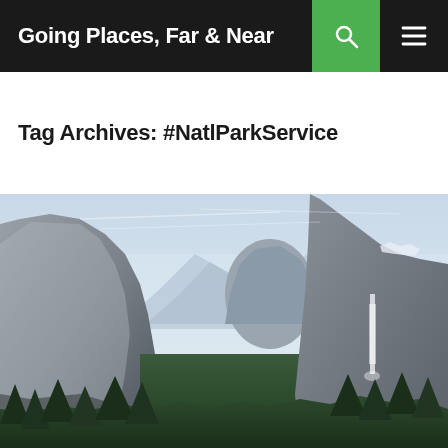Going Places, Far & Near
Tag Archives: #NatlParkService
[Figure (photo): Panoramic photograph of Yosemite Valley showing El Capitan on the left, Half Dome in the center background, and Bridalveil Fall on the right, with pine forest in the foreground and a hazy sky above.]